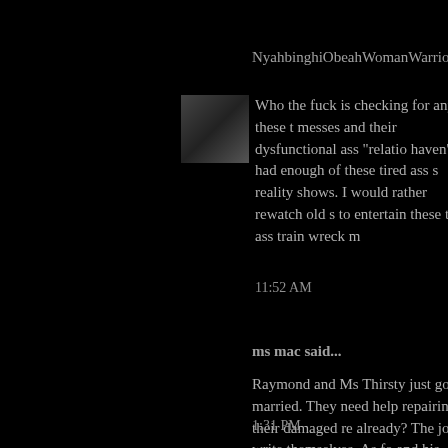NyahbinghiObeahWomanWarrior said...
Who the fuck is checking for any of these messes and their dysfunctional ass "relatio haven't we had enough of these tired ass s reality shows. I would rather rewatch old s to entertain these tired ass train wreck m
11:52 AM
ms mac said...
Raymond and Ms Thirsty just got married. They need help repairing their damaged re already? The jokes write themselves. As fo and his doormat Rashida, they'll do anythin check since reality TV is their only career.
1:31 PM